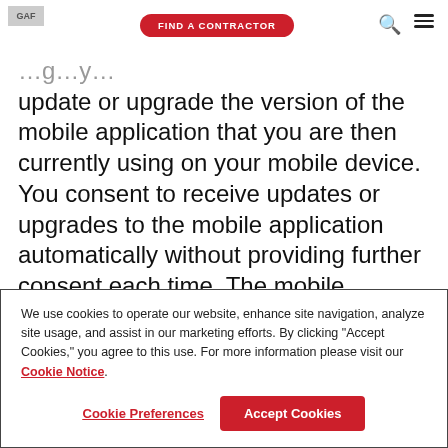GAF | FIND A CONTRACTOR
update or upgrade the version of the mobile application that you are then currently using on your mobile device. You consent to receive updates or upgrades to the mobile application automatically without providing further consent each time. The mobile application (including any updates or upgrades) may: (i) cause your device
We use cookies to operate our website, enhance site navigation, analyze site usage, and assist in our marketing efforts. By clicking "Accept Cookies," you agree to this use. For more information please visit our Cookie Notice.
Cookie Preferences | Accept Cookies